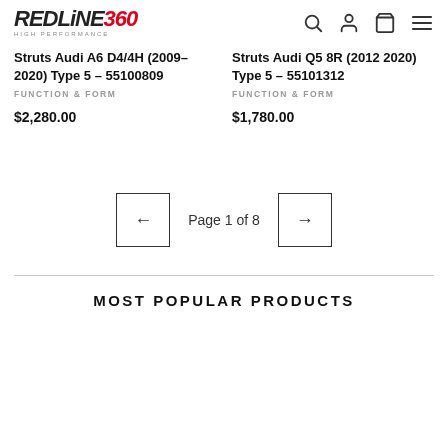[Figure (logo): Redline360 High Performance logo with red and black stylized text]
Struts Audi A6 D4/4H (2009-2020) Type 5 - 55100809
FUNCTION & FORM
$2,280.00
Struts Audi Q5 8R (2012 2020) Type 5 - 55101312
FUNCTION & FORM
$1,780.00
Page 1 of 8
MOST POPULAR PRODUCTS